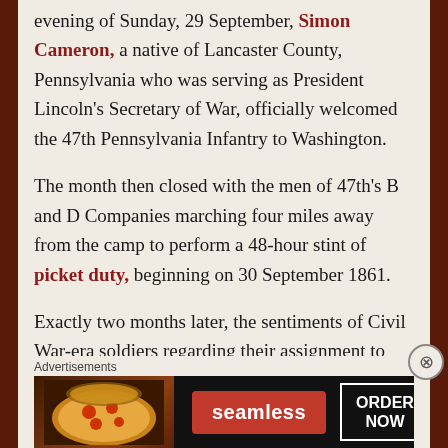evening of Sunday, 29 September, Simon Cameron, a native of Lancaster County, Pennsylvania who was serving as President Lincoln's Secretary of War, officially welcomed the 47th Pennsylvania Infantry to Washington.
The month then closed with the men of 47th's B and D Companies marching four miles away from the camp to perform a 48-hour stint of picket duty, beginning on 30 September 1861.
Exactly two months later, the sentiments of Civil War-era soldiers regarding their assignment to picket duty was eloquently evoked by a 30-something, female poet and short story writer in
Advertisements
[Figure (other): Seamless food delivery advertisement banner with pizza image, red Seamless logo button, and ORDER NOW button on dark background]